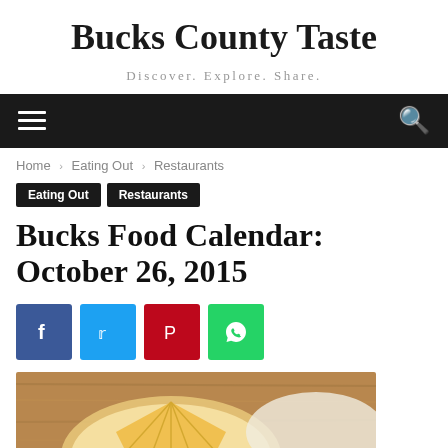Bucks County Taste
Discover. Explore. Share.
Navigation bar with hamburger menu and search icon
Home › Eating Out › Restaurants
Eating Out  Restaurants
Bucks Food Calendar: October 26, 2015
[Figure (infographic): Social share buttons: Facebook (blue), Twitter (cyan/blue), Pinterest (red), WhatsApp (green)]
[Figure (photo): Photo of a cheesecake or cheese dish with slices on a wooden board]